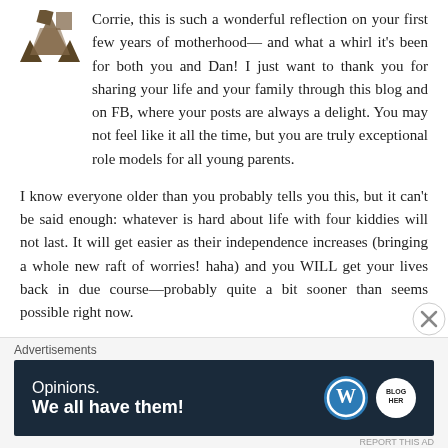[Figure (logo): Brown geometric/abstract logo mark in top left corner]
Corrie, this is such a wonderful reflection on your first few years of motherhood— and what a whirl it's been for both you and Dan! I just want to thank you for sharing your life and your family through this blog and on FB, where your posts are always a delight. You may not feel like it all the time, but you are truly exceptional role models for all young parents.
I know everyone older than you probably tells you this, but it can't be said enough: whatever is hard about life with four kiddies will not last. It will get easier as their independence increases (bringing a whole new raft of worries! haha) and you WILL get your lives back in due course—probably quite a bit sooner than seems possible right now.
Meanwhile, enjoy every minute with your little ones because it's a fact that they don't stay little for long. It's
Advertisements
[Figure (infographic): Dark navy advertisement banner reading 'Opinions. We all have them!' with WordPress and another circular logo on the right side]